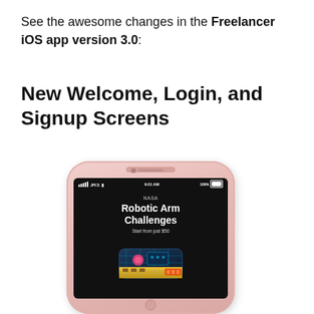See the awesome changes in the Freelancer iOS app version 3.0:
New Welcome, Login, and Signup Screens
[Figure (screenshot): A rose-gold iPhone displaying a dark screen with the text 'NASA Robotic Arm Challenges – Start from just $50' and a 3D rendered robotic arm/hardware component]